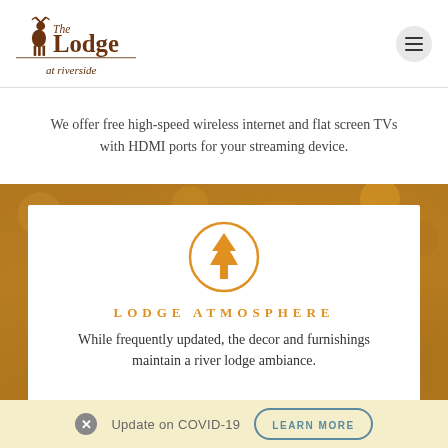The Lodge at riverside
We offer free high-speed wireless internet and flat screen TVs with HDMI ports for your streaming device.
[Figure (illustration): Autumn foliage background with orange tree icon in a circle]
Lodge Atmosphere
While frequently updated, the decor and furnishings maintain a river lodge ambiance.
Update on COVID-19  LEARN MORE